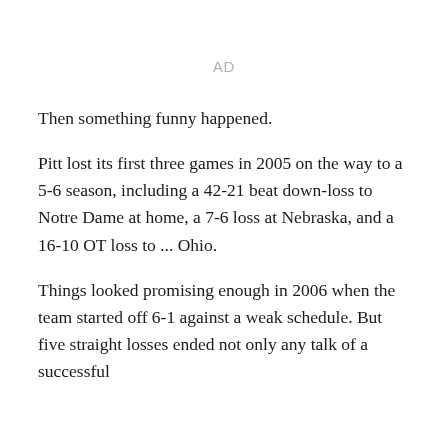AD
Then something funny happened.
Pitt lost its first three games in 2005 on the way to a 5-6 season, including a 42-21 beat down-loss to Notre Dame at home, a 7-6 loss at Nebraska, and a 16-10 OT loss to ... Ohio.
Things looked promising enough in 2006 when the team started off 6-1 against a weak schedule. But five straight losses ended not only any talk of a successful